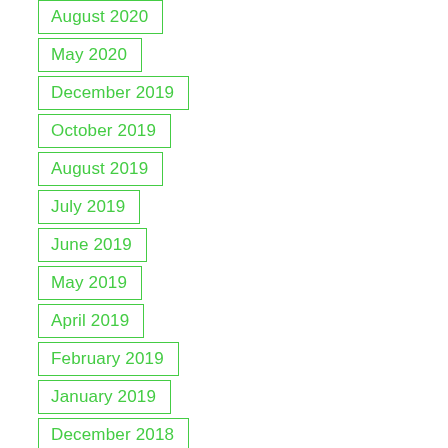August 2020
May 2020
December 2019
October 2019
August 2019
July 2019
June 2019
May 2019
April 2019
February 2019
January 2019
December 2018
November 2018
September 2018
August 2018